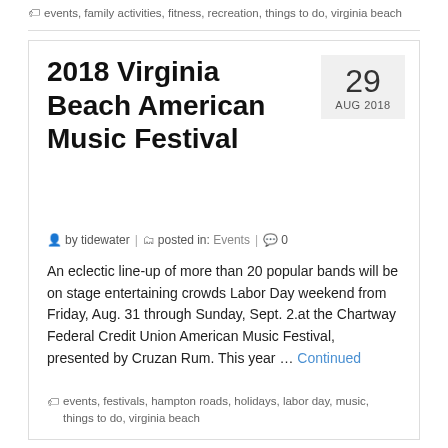events, family activities, fitness, recreation, things to do, virginia beach
2018 Virginia Beach American Music Festival
29
AUG 2018
by tidewater | posted in: Events | 0
An eclectic line-up of more than 20 popular bands will be on stage entertaining crowds Labor Day weekend from Friday, Aug. 31 through Sunday, Sept. 2.at the Chartway Federal Credit Union American Music Festival, presented by Cruzan Rum. This year … Continued
events, festivals, hampton roads, holidays, labor day, music, things to do, virginia beach